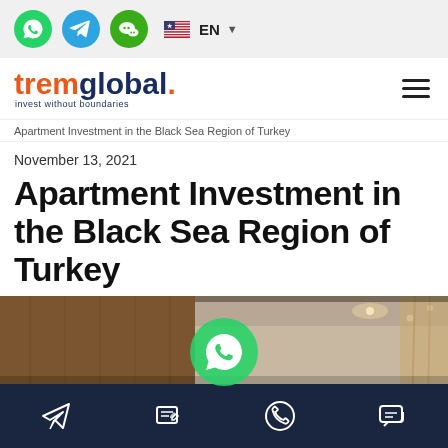Social icons: WhatsApp, Telegram, WeChat | EN language selector
[Figure (logo): tremglobal. invest without boundaries logo with hamburger menu icon]
Apartment Investment in the Black Sea Region of Turkey
November 13, 2021
Apartment Investment in the Black Sea Region of Turkey
[Figure (photo): Interior photo of a modern apartment room with wooden wall panels and ceiling lighting]
Bottom navigation bar with icons: send/telegram, edit/contact, phone call, chat